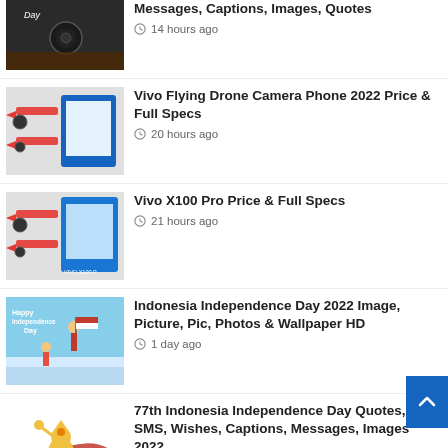Messages, Captions, Images, Quotes — 14 hours ago
Vivo Flying Drone Camera Phone 2022 Price & Full Specs — 20 hours ago
Vivo X100 Pro Price & Full Specs — 21 hours ago
Indonesia Independence Day 2022 Image, Picture, Pic, Photos & Wallpaper HD — 1 day ago
77th Indonesia Independence Day Quotes, SMS, Wishes, Captions, Messages, Images 2022 — 1 day ago
Nokia Avatar 5G 2022 Price & Full Specs